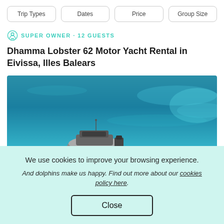Trip Types | Dates | Price | Group Size
SUPER OWNER · 12 GUESTS
Dhamma Lobster 62 Motor Yacht Rental in Eivissa, Illes Balears
[Figure (photo): Aerial or elevated view of a motor yacht on turquoise blue ocean water]
We use cookies to improve your browsing experience.
And dolphins make us happy. Find out more about our cookies policy here.
Close